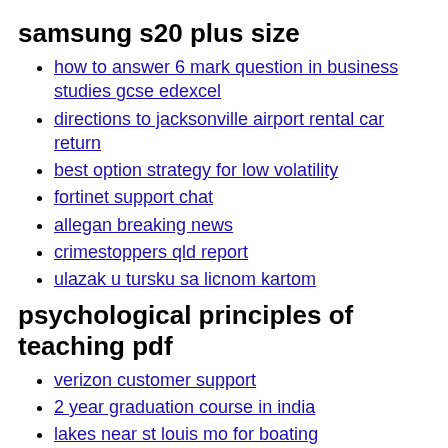samsung s20 plus size
how to answer 6 mark question in business studies gcse edexcel
directions to jacksonville airport rental car return
best option strategy for low volatility
fortinet support chat
allegan breaking news
crimestoppers qld report
ulazak u tursku sa licnom kartom
psychological principles of teaching pdf
verizon customer support
2 year graduation course in india
lakes near st louis mo for boating
shaw neighborhood dc restaurants
treatlife app instructions
property for sale near st louis mo
maine state golf association facebook
what division is smu swimming
mini cooper old school for sale